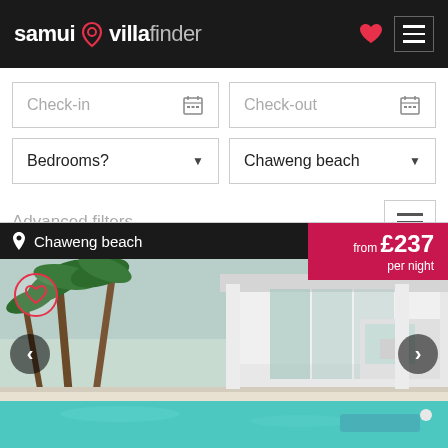samui villa finder
Check-in
Check-out
Bedrooms?
Chaweng beach
Advanced filters
Chaweng beach
from £237 per night
[Figure (photo): Villa with swimming pool and tropical palm trees, open-plan white modern house interior visible, turquoise pool water with sun loungers]